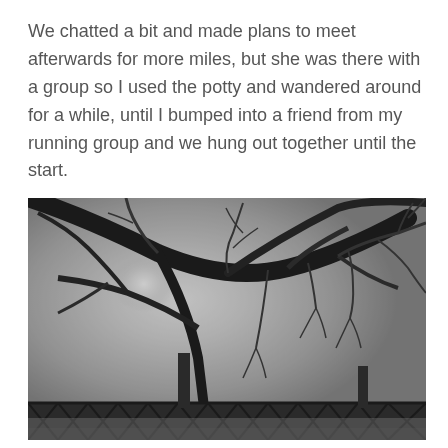We chatted a bit and made plans to meet afterwards for more miles, but she was there with a group so I used the potty and wandered around for a while, until I bumped into a friend from my running group and we hung out together until the start.
[Figure (photo): Outdoor photograph showing silhouetted bare tree branches against a bright, hazy sky. In the lower portion of the image, a metal truss bridge spans across the scene. The overall tone is monochromatic grey with mist or fog.]